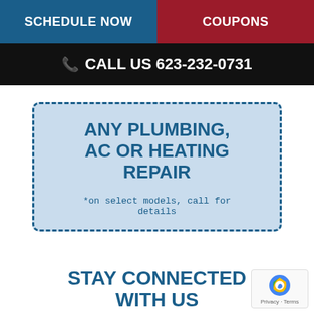SCHEDULE NOW | COUPONS
CALL US 623-232-0731
[Figure (other): Coupon box with dashed blue border on light blue background showing ANY PLUMBING, AC OR HEATING REPAIR with note: *on select models, call for details]
STAY CONNECTED WITH US